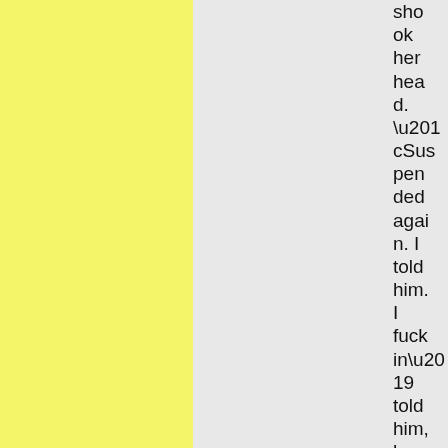shook her head. “Suspended again. I told him. I fuckin’ told him, he can’t punch any